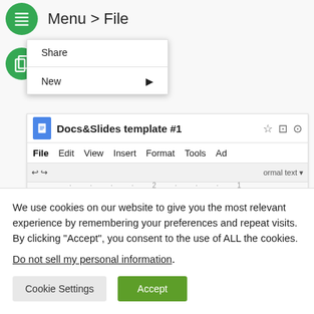[Figure (screenshot): Google Docs interface screenshot showing Step 3 - Make a copy, with File menu open showing Share and New options]
We use cookies on our website to give you the most relevant experience by remembering your preferences and repeat visits. By clicking “Accept”, you consent to the use of ALL the cookies.
Do not sell my personal information.
Cookie Settings | Accept